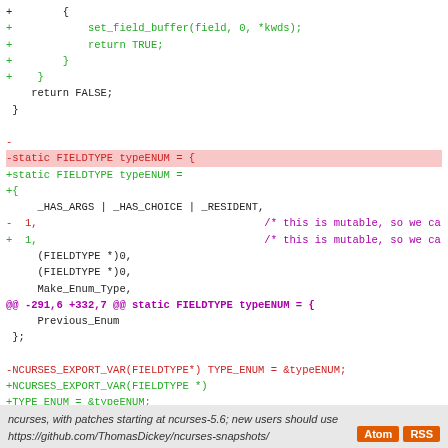[Figure (screenshot): Code diff screenshot showing changes to ncurses C source file, with added (green) and removed (red/pink-highlighted) lines, a hunk header in magenta, and context lines in black. Includes changes to set_field_buffer, typeENUM struct, and NCURSES_EXPORT_VAR declarations.]
ncurses, with patches starting at ncurses-5.6; new users should use https://github.com/ThomasDickey/ncurses-snapshots/